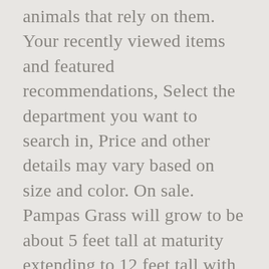animals that rely on them. Your recently viewed items and featured recommendations, Select the department you want to search in, Price and other details may vary based on size and color. On sale. Pampas Grass will grow to be about 5 feet tall at maturity extending to 12 feet tall with the flowers, with a spread of 8 feet. GBP $0.57 / Piece; US $1.42 / Piece; Free shipping ; Report Item. Dried Pressed Flowers,36 Pcs Real Dried Flowers for DIY Candle Resin Jewelry Nail Pendant Crafts Making Art Floral Decors . 99. 55. C $31.99; Buy It Now ; Free Shipping; 4 Watching. Due to its popularity, more and more florists have it available. Displayed on its own or worked into a bouquet for added height and texture